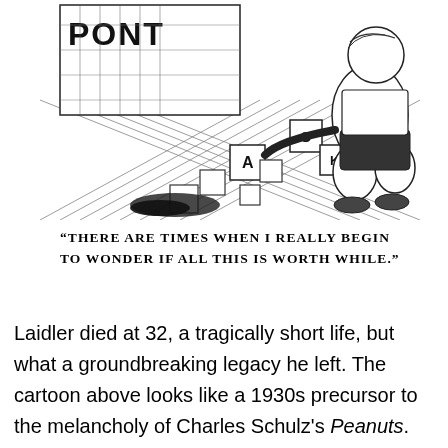[Figure (illustration): Black and white vintage cartoon illustration showing a child kneeling among scattered alphabet blocks and wooden crates, with letters visible including A, K, O on the boxes. The child appears to be playing or building. Scene has crosshatched floor lines and a partial sign reading 'PONT' in the background.]
"There are times when I really begin to wonder if all this is worth while."
Laidler died at 32, a tragically short life, but what a groundbreaking legacy he left. The cartoon above looks like a 1930s precursor to the melancholy of Charles Schulz's Peanuts.
So it's an important show, but it's mostly just